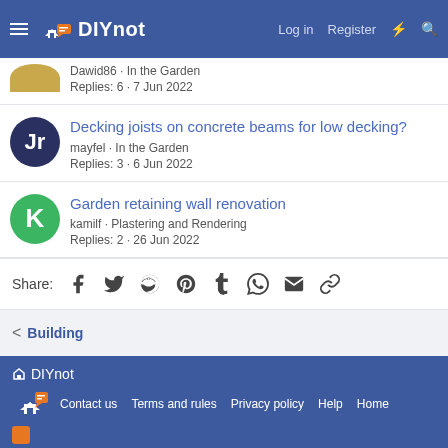DIYnot · Log in · Register
Dawid86 · In the Garden
Replies: 6 · 7 Jun 2022
Decking joists on concrete beams for low decking?
mayfel · In the Garden
Replies: 3 · 6 Jun 2022
Garden retaining wall renovation
kamilf · Plastering and Rendering
Replies: 2 · 26 Jun 2022
Share:
< Building
DIYnot · Contact us · Terms and rules · Privacy policy · Help · Home